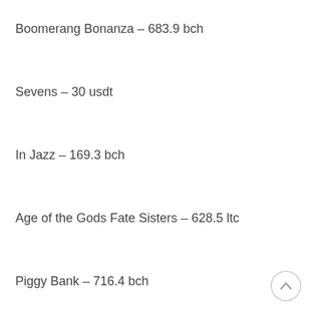Boomerang Bonanza – 683.9 bch
Sevens – 30 usdt
In Jazz – 169.3 bch
Age of the Gods Fate Sisters – 628.5 ltc
Piggy Bank – 716.4 bch